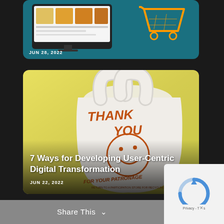[Figure (screenshot): Top card partially visible showing a website screenshot with a computer monitor displaying product images and a shopping cart icon, dated JUN 28, 2022]
JUN 28, 2022
[Figure (photo): A white plastic 'Thank You' bag with a smiley face and text reading 'THANK YOU', 'FOR YOUR PATRONAGE', 'RETURN TO A PARTICIPATION STORE FOR RECYCLING' on a yellow gradient background]
7 Ways for Developing User-Centric Digital Transformation
JUN 22, 2022
Share This